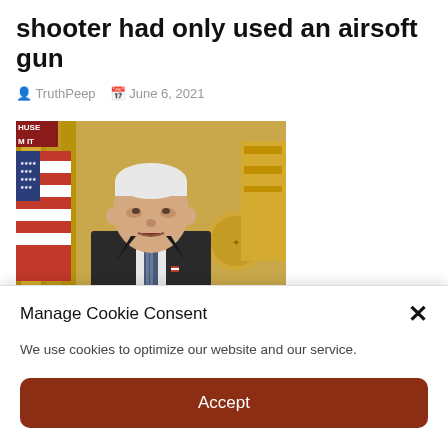shooter had only used an airsoft gun
TruthPeep   June 6, 2021
[Figure (screenshot): Screenshot of a news broadcast showing a man in a dark suit speaking at a podium with American flags and a gold-curtained background. A news ticker at the bottom reads: N: WILL MEET 100M VACCINE SHOT GOAL T. A badge in the top-left reads HUSE M IT.]
Manage Cookie Consent
We use cookies to optimize our website and our service.
Accept